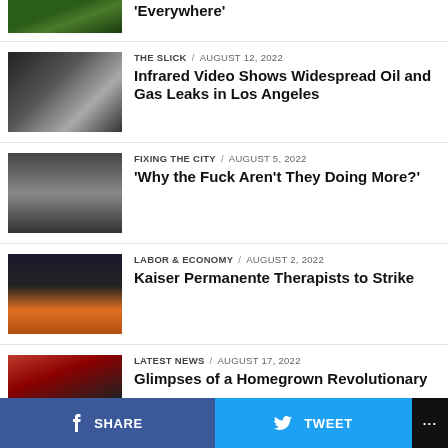[Figure (photo): Partial view of green foliage/vegetation photo thumbnail]
[Figure (photo): Infrared video still showing black and white image of building with gas/smoke leaks]
THE SLICK / August 12, 2022
Infrared Video Shows Widespread Oil and Gas Leaks in Los Angeles
[Figure (photo): Photo of people at a press conference or public event]
FIXING THE CITY / August 5, 2022
‘Why the Fuck Aren’t They Doing More?’
[Figure (photo): Kaiser Permanente banner/sign photo with orange background]
LABOR & ECONOMY / August 2, 2022
Kaiser Permanente Therapists to Strike
[Figure (photo): Photo with face illustration and red/crowd imagery]
LATEST NEWS / August 17, 2022
Glimpses of a Homegrown Revolutionary
SHARE   TWEET   ...